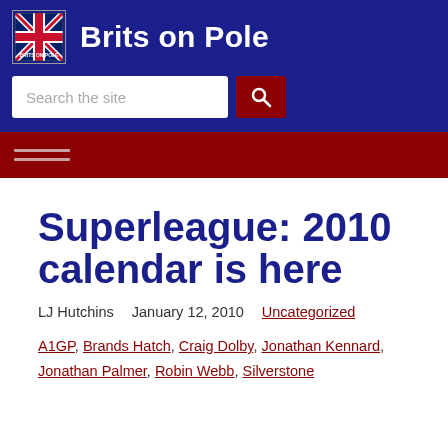Brits on Pole
Superleague: 2010 calendar is here
LJ Hutchins   January 12, 2010   Uncategorized
A1GP, Brands Hatch, Craig Dolby, Jonathan Kennard, Jonathan Palmer, Robin Webb, Silverstone